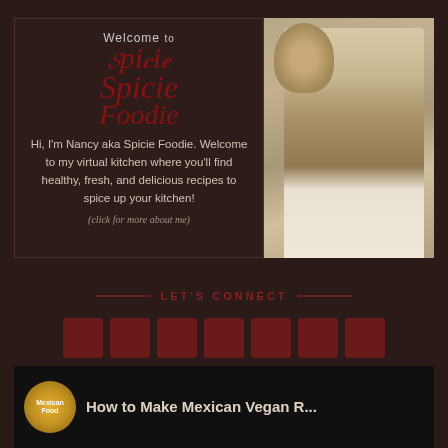[Figure (screenshot): Welcome banner for Spicie Foodie blog. Left panel: dark brown background with 'Welcome to Spicie Foodie' logo text in red script, bio text in light gray: 'Hi, I'm Nancy aka Spicie Foodie. Welcome to my virtual kitchen where you'll find healthy, fresh, and delicious recipes to spice up your kitchen!' and '(click for more about me)'. Right panel: photo of a woman drinking wine.]
LET'S CONNECT
[Figure (infographic): Row of 7 dark red square social media icon buttons for connecting on social platforms]
COOKING VIDEOS
[Figure (screenshot): Video thumbnail showing a circular logo on the left and text 'How to Make Mexican Vegan R...' on a dark background]